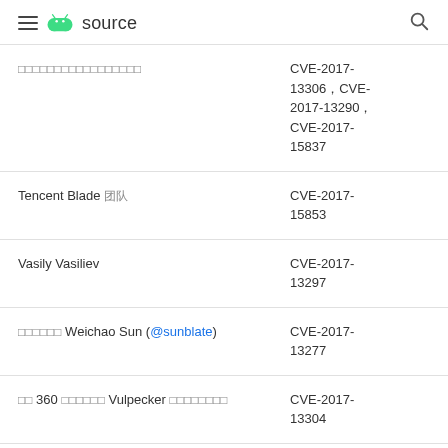≡ 🤖 source 🔍
| Researcher | CVE |
| --- | --- |
| [CJK text] | CVE-2017-13306，CVE-2017-13290，CVE-2017-15837 |
| Tencent Blade 团队 | CVE-2017-15853 |
| Vasily Vasiliev | CVE-2017-13297 |
| [CJK] Weichao Sun (@sunblate) | CVE-2017-13277 |
| [CJK] 360 [CJK] Vulpecker [CJK] | CVE-2017-13304 |